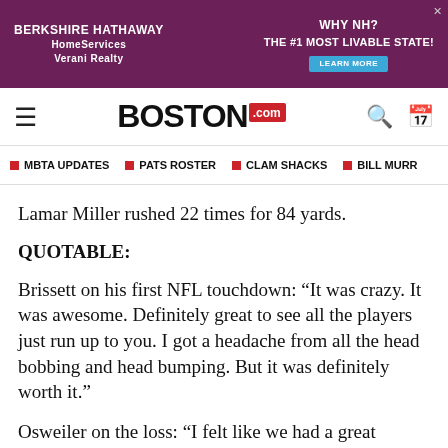[Figure (other): Berkshire Hathaway HomeServices Verani Realty advertisement banner with 'Why NH? The #1 Most Livable State! Learn More' on purple background]
BOSTON .com
MBTA UPDATES
PATS ROSTER
CLAM SHACKS
BILL MURR
Lamar Miller rushed 22 times for 84 yards.
QUOTABLE:
Brissett on his first NFL touchdown: “It was crazy. It was awesome. Definitely great to see all the players just run up to you. I got a headache from all the head bobbing and head bumping. But it was definitely worth it.”
Osweiler on the loss: “I felt like we had a great